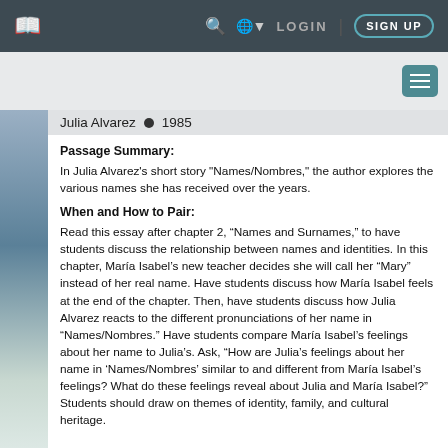Julia Alvarez • 1985
Passage Summary:
In Julia Alvarez's short story "Names/Nombres," the author explores the various names she has received over the years.
When and How to Pair:
Read this essay after chapter 2, “Names and Surnames,” to have students discuss the relationship between names and identities. In this chapter, María Isabel’s new teacher decides she will call her “Mary” instead of her real name. Have students discuss how María Isabel feels at the end of the chapter. Then, have students discuss how Julia Alvarez reacts to the different pronunciations of her name in “Names/Nombres.” Have students compare María Isabel’s feelings about her name to Julia’s. Ask, “How are Julia’s feelings about her name in ‘Names/Nombres’ similar to and different from María Isabel’s feelings? What do these feelings reveal about Julia and María Isabel?” Students should draw on themes of identity, family, and cultural heritage.